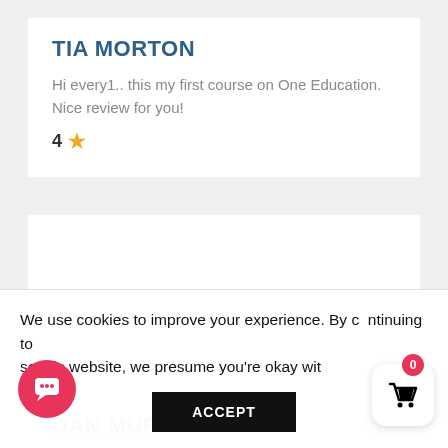TIA MORTON
Hi every1.. this my first course on One Education. Nice review for you!
4 ★
DAN MURRAY
We use cookies to improve your experience. By continuing to use this website, we presume you're okay with
ACCEPT